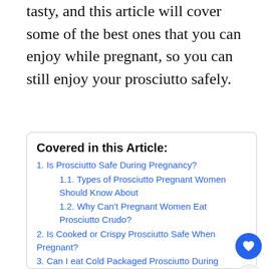tasty, and this article will cover some of the best ones that you can enjoy while pregnant, so you can still enjoy your prosciutto safely.
Covered in this Article:
1. Is Prosciutto Safe During Pregnancy?
1.1. Types of Prosciutto Pregnant Women Should Know About
1.2. Why Can't Pregnant Women Eat Prosciutto Crudo?
2. Is Cooked or Crispy Prosciutto Safe When Pregnant?
3. Can I eat Cold Packaged Prosciutto During Pregnancy?
4. Safe Ways of Enjoying Prosciutto When Pregnant
5. Help! I Accidentally Ate Raw Prosciutto When Pregnant